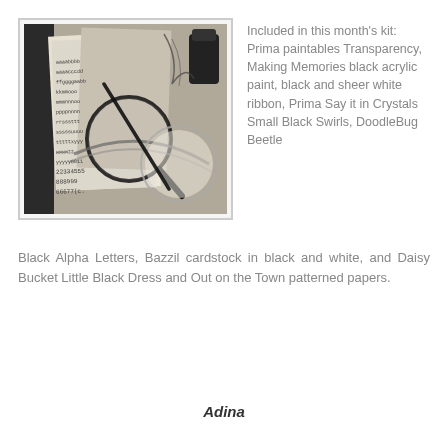[Figure (photo): Black and white photograph showing craft supplies including alphabet sticker sheets, a magnifying glass, ribbon, a dark bottle, and decorative paper elements arranged on a surface.]
Included in this month's kit: Prima paintables Transparency, Making Memories black acrylic paint, black and sheer white ribbon, Prima Say it in Crystals Small Black Swirls, DoodleBug Beetle Black Alpha Letters, Bazzil cardstock in black and white, and Daisy Bucket Little Black Dress and Out on the Town patterned papers.
Adina